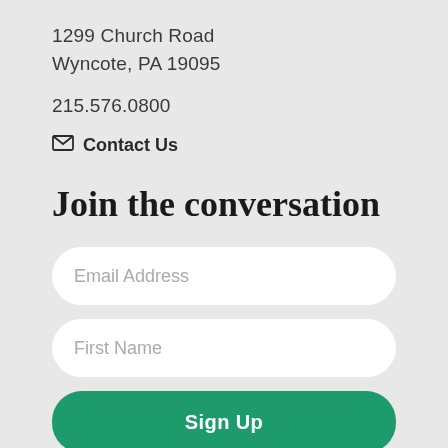1299 Church Road
Wyncote, PA 19095
215.576.0800
✉ Contact Us
Join the conversation
Email Address
First Name
Sign Up
Facebook